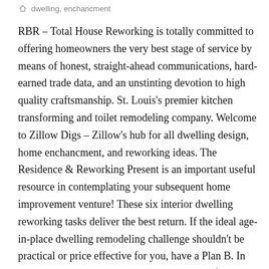dwelling, enchancment
RBR – Total House Reworking is totally committed to offering homeowners the very best stage of service by means of honest, straight-ahead communications, hard-earned trade data, and an unstinting devotion to high quality craftsmanship. St. Louis's premier kitchen transforming and toilet remodeling company. Welcome to Zillow Digs – Zillow's hub for all dwelling design, home enchancment, and reworking ideas. The Residence & Reworking Present is an important useful resource in contemplating your subsequent home improvement venture! These six interior dwelling reworking tasks deliver the best return. If the ideal age-in-place dwelling remodeling challenge shouldn't be practical or price effective for you, have a Plan B. In response to HomeAdvisor, installing a chairlift along an existing stairwell can run less than $6,000.
RBR – Whole House Reworking will help you intend and design your new kitchen for maximum performance, improved aesthetic appeal, and an overall increase in worth. We rely on open communication with